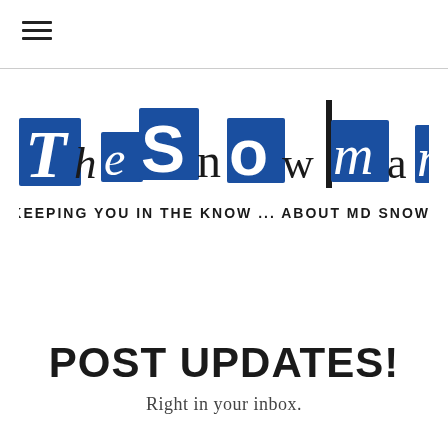≡ (hamburger menu icon)
[Figure (logo): TheSnowman logo — large stylized text 'TheSnowman' in blue and white collage/ransom-note style letters on blue rectangular backgrounds, with subtitle 'KEEPING YOU IN THE KNOW ... ABOUT MD SNOW!']
POST UPDATES!
Right in your inbox.